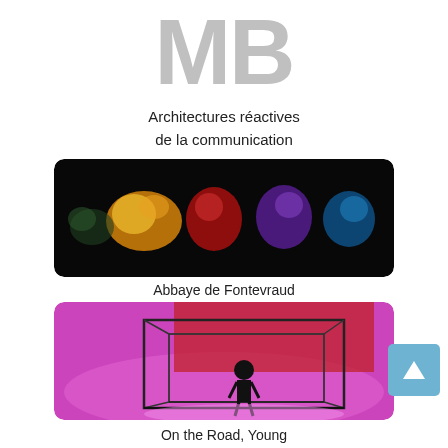[Figure (logo): Large gray MB letters logo centered at top]
Architectures réactives de la communication
[Figure (photo): Dark photo showing colorful light figures in yellow, red, orange, purple, blue on black background - Abbaye de Fontevraud]
Abbaye de Fontevraud
[Figure (photo): Photo of person silhouette inside glowing wire-frame cube structure with purple/pink and red lighting - On the Road, Young Media Artists in China]
On the Road, Young Media Artists in China (Shenzhe...
[Figure (photo): Partial dark image at bottom, cropped]